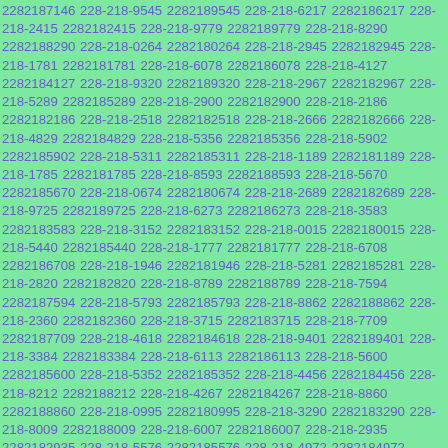2282187146 228-218-9545 2282189545 228-218-6217 2282186217 228-218-2415 2282182415 228-218-9779 2282189779 228-218-8290 2282188290 228-218-0264 2282180264 228-218-2945 2282182945 228-218-1781 2282181781 228-218-6078 2282186078 228-218-4127 2282184127 228-218-9320 2282189320 228-218-2967 2282182967 228-218-5289 2282185289 228-218-2900 2282182900 228-218-2186 2282182186 228-218-2518 2282182518 228-218-2666 2282182666 228-218-4829 2282184829 228-218-5356 2282185356 228-218-5902 2282185902 228-218-5311 2282185311 228-218-1189 2282181189 228-218-1785 2282181785 228-218-8593 2282188593 228-218-5670 2282185670 228-218-0674 2282180674 228-218-2689 2282182689 228-218-9725 2282189725 228-218-6273 2282186273 228-218-3583 2282183583 228-218-3152 2282183152 228-218-0015 2282180015 228-218-5440 2282185440 228-218-1777 2282181777 228-218-6708 2282186708 228-218-1946 2282181946 228-218-5281 2282185281 228-218-2820 2282182820 228-218-8789 2282188789 228-218-7594 2282187594 228-218-5793 2282185793 228-218-8862 2282188862 228-218-2360 2282182360 228-218-3715 2282183715 228-218-7709 2282187709 228-218-4618 2282184618 228-218-9401 2282189401 228-218-3384 2282183384 228-218-6113 2282186113 228-218-5600 2282185600 228-218-5352 2282185352 228-218-4456 2282184456 228-218-8212 2282188212 228-218-4267 2282184267 228-218-8860 2282188860 228-218-0995 2282180995 228-218-3290 2282183290 228-218-8009 2282188009 228-218-6007 2282186007 228-218-2935 2282182935 228-218-5576 2282185576 228-218-4972 2282184972